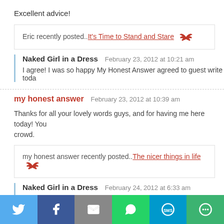Excellent advice!
Eric recently posted..It's Time to Stand and Stare
Naked Girl in a Dress February 23, 2012 at 10:21 am
I agree! I was so happy My Honest Answer agreed to guest write toda
my honest answer February 23, 2012 at 10:39 am
Thanks for all your lovely words guys, and for having me here today! You crowd.
my honest answer recently posted..The nicer things in life
Naked Girl in a Dress February 24, 2012 at 6:33 am
It was great to host you yesterday!
Share bar: Twitter, Facebook, Email, WhatsApp, SMS, More